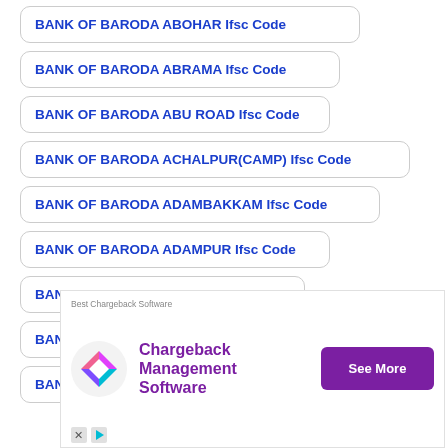BANK OF BARODA ABOHAR Ifsc Code
BANK OF BARODA ABRAMA Ifsc Code
BANK OF BARODA ABU ROAD Ifsc Code
BANK OF BARODA ACHALPUR(CAMP) Ifsc Code
BANK OF BARODA ADAMBAKKAM Ifsc Code
BANK OF BARODA ADAMPUR Ifsc Code
BANK OF BARODA ADAURI Ifsc Code
BANK OF BARODA ADDANKI Ifsc Code
BANK OF BARODA ADILABAD Ifsc Code
[Figure (infographic): Advertisement for Chargeback Management Software with purple logo, title 'Best Chargeback Software', body text 'Chargeback Management Software', and a 'See More' purple button.]